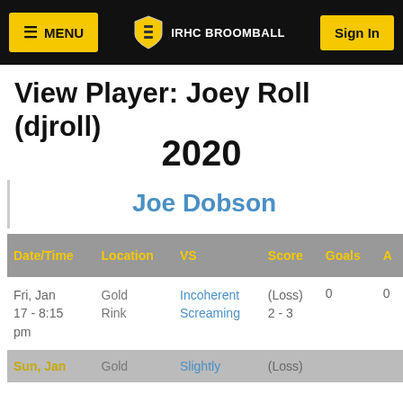≡ MENU  IRHC BROOMBALL  Sign In
View Player: Joey Roll (djroll)
2020
Joe Dobson
| Date/Time | Location | VS | Score | Goals | A |
| --- | --- | --- | --- | --- | --- |
| Fri, Jan 17 - 8:15 pm | Gold Rink | Incoherent Screaming | (Loss) 2 - 3 | 0 | 0 |
| Sun, Jan | Gold | Slightly | (Loss) |  |  |